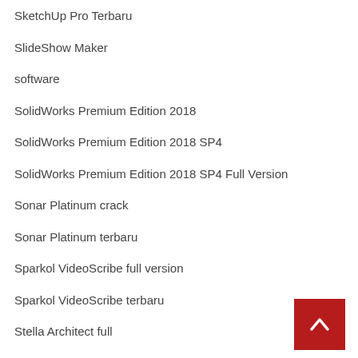SketchUp Pro Terbaru
SlideShow Maker
software
SolidWorks Premium Edition 2018
SolidWorks Premium Edition 2018 SP4
SolidWorks Premium Edition 2018 SP4 Full Version
Sonar Platinum crack
Sonar Platinum terbaru
Sparkol VideoScribe full version
Sparkol VideoScribe terbaru
Stella Architect full
Techsmith Snagit crack
Techsmith Snagit full version